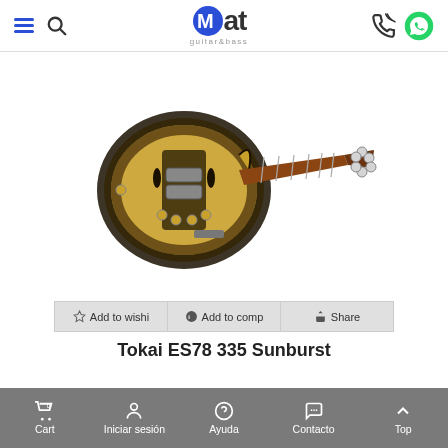Mat guitar&bass — navigation header with hamburger menu, search, logo, phone and WhatsApp icons
[Figure (photo): Tokai ES78 335 Sunburst semi-hollow electric guitar with sunburst finish, rosewood fretboard, two humbucker pickups, f-holes, on white background]
Add to wishi | Add to comp | Share
Tokai ES78 335 Sunburst
Cart 0 | Iniciar sesión | Ayuda | Contacto | Top